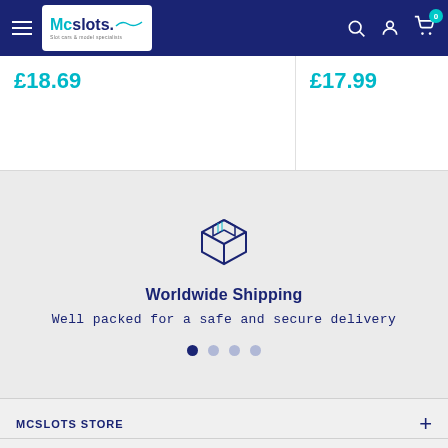McSlots navigation bar with hamburger menu, logo, search, account, and cart icons
£18.69
£17.99
[Figure (illustration): Box/package icon outline in navy blue representing worldwide shipping]
Worldwide Shipping
Well packed for a safe and secure delivery
MCSLOTS STORE
STORE POLICES